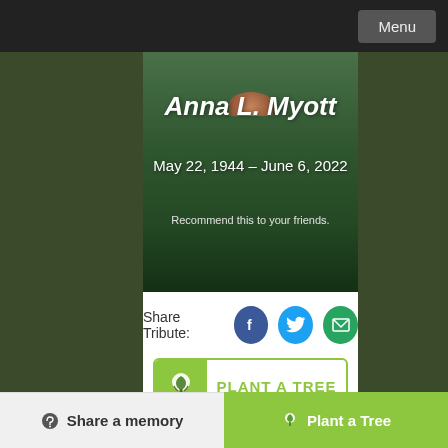Menu
[Figure (photo): Memorial tribute page for Anna L. Myott with nature/landscape background]
Anna L. Myott
May 22, 1944 – June 6, 2022
Recommend this to your friends.
Share Tribute:
PLANT A TREE
Memory Wall
Funeral Details
Share a memory   Plant a Tree